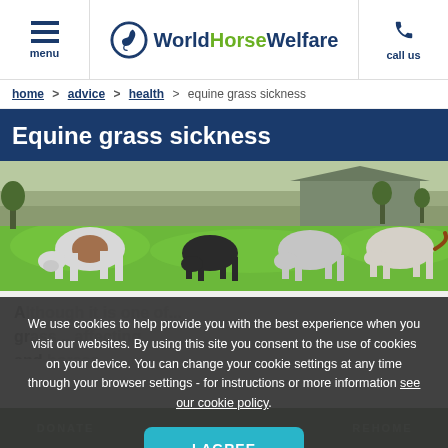WorldHorseWelfare — menu / call us header
home > advice > health > equine grass sickness
Equine grass sickness
[Figure (photo): Four horses grazing in a green field with trees and a farm building in the background.]
We use cookies to help provide you with the best experience when you visit our websites. By using this site you consent to the use of cookies on your device. You can change your cookie settings at any time through your browser settings - for instructions or more information see our cookie policy.
DONATE   I AGREE   REHOME